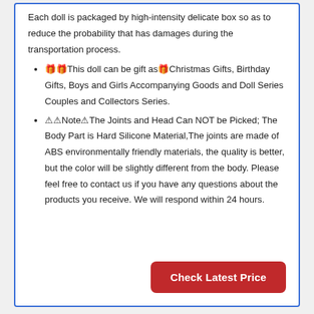Each doll is packaged by high-intensity delicate box so as to reduce the probability that has damages during the transportation process.
🎁This doll can be gift as🎁Christmas Gifts, Birthday Gifts, Boys and Girls Accompanying Goods and Doll Series Couples and Collectors Series.
⚠️Note⚠️The Joints and Head Can NOT be Picked; The Body Part is Hard Silicone Material,The joints are made of ABS environmentally friendly materials, the quality is better, but the color will be slightly different from the body. Please feel free to contact us if you have any questions about the products you receive. We will respond within 24 hours.
Check Latest Price